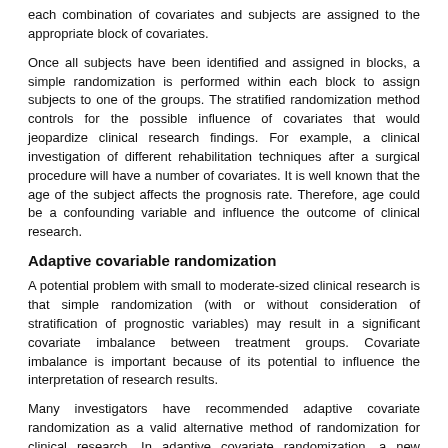each combination of covariates and subjects are assigned to the appropriate block of covariates.
Once all subjects have been identified and assigned in blocks, a simple randomization is performed within each block to assign subjects to one of the groups. The stratified randomization method controls for the possible influence of covariates that would jeopardize clinical research findings. For example, a clinical investigation of different rehabilitation techniques after a surgical procedure will have a number of covariates. It is well known that the age of the subject affects the prognosis rate. Therefore, age could be a confounding variable and influence the outcome of clinical research.
Adaptive covariable randomization
A potential problem with small to moderate-sized clinical research is that simple randomization (with or without consideration of stratification of prognostic variables) may result in a significant covariate imbalance between treatment groups. Covariate imbalance is important because of its potential to influence the interpretation of research results.
Many investigators have recommended adaptive covariate randomization as a valid alternative method of randomization for clinical research. In adaptive covariate randomization, a new participant is sequentially assigned to a particular treatment group taking into account specific covariates and previous participant assignments. Adaptive covariate randomization uses the minimization method when assessing sample size imbalance among several covariates.